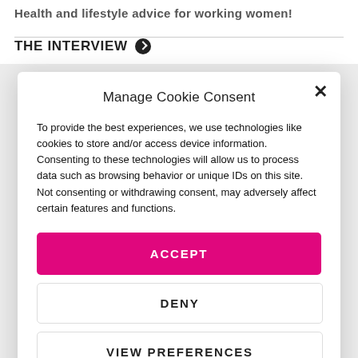Health and lifestyle advice for working women!
THE INTERVIEW ➔
Manage Cookie Consent
To provide the best experiences, we use technologies like cookies to store and/or access device information. Consenting to these technologies will allow us to process data such as browsing behavior or unique IDs on this site. Not consenting or withdrawing consent, may adversely affect certain features and functions.
ACCEPT
DENY
VIEW PREFERENCES
Terms & Conditions